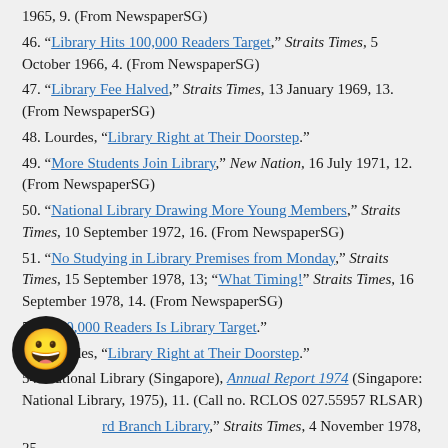1965, 9. (From NewspaperSG)
46. “Library Hits 100,000 Readers Target,” Straits Times, 5 October 1966, 4. (From NewspaperSG)
47. “Library Fee Halved,” Straits Times, 13 January 1969, 13. (From NewspaperSG)
48. Lourdes, “Library Right at Their Doorstep.”
49. “More Students Join Library,” New Nation, 16 July 1971, 12. (From NewspaperSG)
50. “National Library Drawing More Young Members,” Straits Times, 10 September 1972, 16. (From NewspaperSG)
51. “No Studying in Library Premises from Monday,” Straits Times, 15 September 1978, 13; “What Timing!” Straits Times, 16 September 1978, 14. (From NewspaperSG)
52. “400,000 Readers Is Library Target.”
53. Lourdes, “Library Right at Their Doorstep.”
54. National Library (Singapore), Annual Report 1974 (Singapore: National Library, 1975), 11. (Call no. RCLOS 027.55957 RLSAR)
55. [partially obscured]rd Branch Library,” Straits Times, 4 November 1978, 25. (From NewspaperSG)
56. “Library Network to Promote Reading Habit,” Straits Times, 10